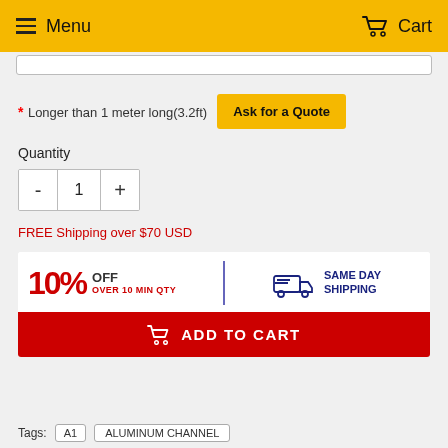Menu  Cart
* Longer than 1 meter long(3.2ft)  Ask for a Quote
Quantity
- 1 +
FREE Shipping over $70 USD
[Figure (infographic): 10% OFF OVER 10 MIN QTY | SAME DAY SHIPPING promo banner with red and navy text on white background, with Add to Cart red button below]
Tags: A1  ALUMINUM CHANNEL